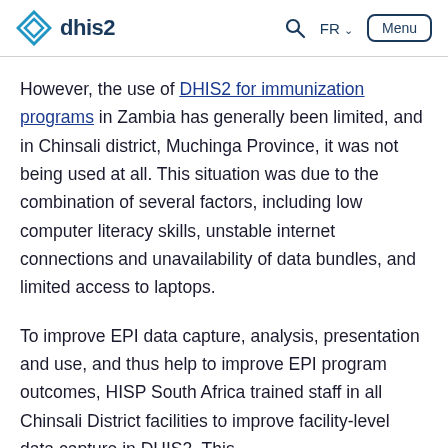dhis2 | Search | FR | Menu
However, the use of DHIS2 for immunization programs in Zambia has generally been limited, and in Chinsali district, Muchinga Province, it was not being used at all. This situation was due to the combination of several factors, including low computer literacy skills, unstable internet connections and unavailability of data bundles, and limited access to laptops.
To improve EPI data capture, analysis, presentation and use, and thus help to improve EPI program outcomes, HISP South Africa trained staff in all Chinsali District facilities to improve facility-level data capture in DHIS2. This